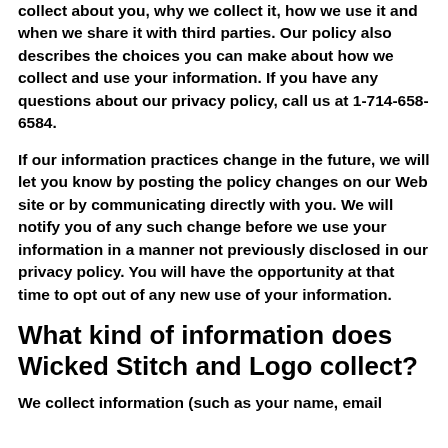collect about you, why we collect it, how we use it and when we share it with third parties. Our policy also describes the choices you can make about how we collect and use your information. If you have any questions about our privacy policy, call us at 1-714-658-6584.
If our information practices change in the future, we will let you know by posting the policy changes on our Web site or by communicating directly with you. We will notify you of any such change before we use your information in a manner not previously disclosed in our privacy policy. You will have the opportunity at that time to opt out of any new use of your information.
What kind of information does Wicked Stitch and Logo collect?
We collect information (such as your name, email